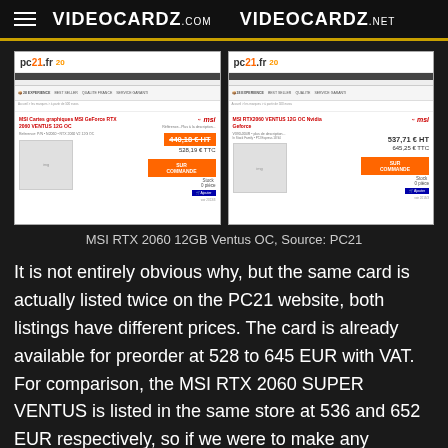VIDEOCARDZ.COM   VIDEOCARDZ.NET
[Figure (screenshot): Two side-by-side screenshots of the pc21.fr website showing the MSI RTX 2060 12GB Ventus OC listed twice at different prices: 440.18€ HT / 528.19€ TTC and 537.71€ HT / 645.25€ TTC]
MSI RTX 2060 12GB Ventus OC, Source: PC21
It is not entirely obvious why, but the same card is actually listed twice on the PC21 website, both listings have different prices. The card is already available for preorder at 528 to 645 EUR with VAT. For comparison, the MSI RTX 2060 SUPER VENTUS is listed in the same store at 536 and 652 EUR respectively, so if we were to make any guesses the new model is 'cheaper' than SUPER.
MSI already offers two RTX 2060 6GB models based on the Ventus series, the original Ventus and Ventus